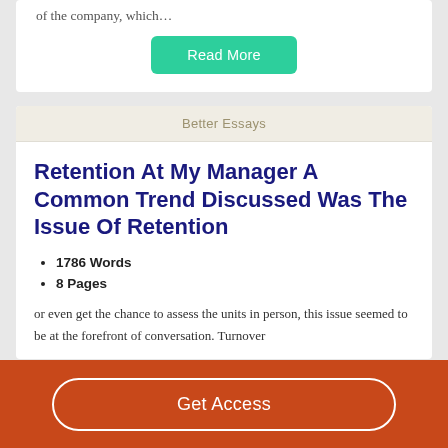of the company, which…
Read More
Better Essays
Retention At My Manager A Common Trend Discussed Was The Issue Of Retention
1786 Words
8 Pages
or even get the chance to assess the units in person, this issue seemed to be at the forefront of conversation. Turnover
Get Access